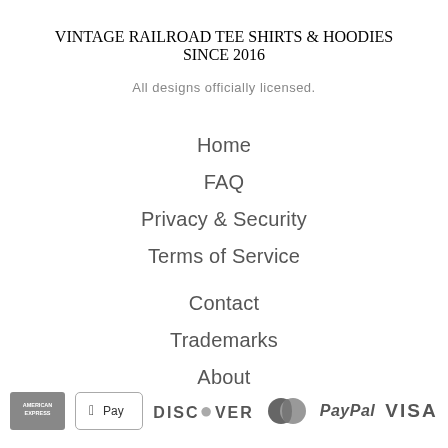VINTAGE RAILROAD TEE SHIRTS & HOODIES SINCE 2016
All designs officially licensed.
Home
FAQ
Privacy & Security
Terms of Service
Contact
Trademarks
About
[Figure (logo): Payment method logos: American Express, Apple Pay, Discover, MasterCard, PayPal, Visa]